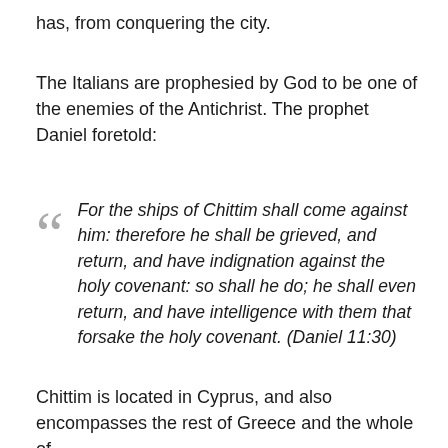has, from conquering the city.
The Italians are prophesied by God to be one of the enemies of the Antichrist. The prophet Daniel foretold:
For the ships of Chittim shall come against him: therefore he shall be grieved, and return, and have indignation against the holy covenant: so shall he do; he shall even return, and have intelligence with them that forsake the holy covenant. (Daniel 11:30)
Chittim is located in Cyprus, and also encompasses the rest of Greece and the whole of